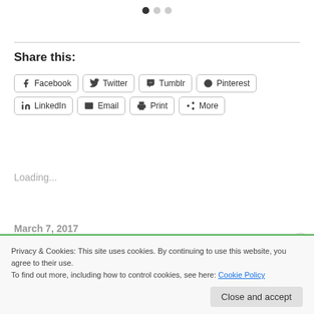[Figure (other): Pagination dots indicator — one filled dark circle and two light grey circles]
Share this:
[Figure (other): Row 1 share buttons: Facebook, Twitter, Tumblr, Pinterest. Row 2: LinkedIn, Email, Print, More]
Loading...
Privacy & Cookies: This site uses cookies. By continuing to use this website, you agree to their use.
To find out more, including how to control cookies, see here: Cookie Policy
Close and accept